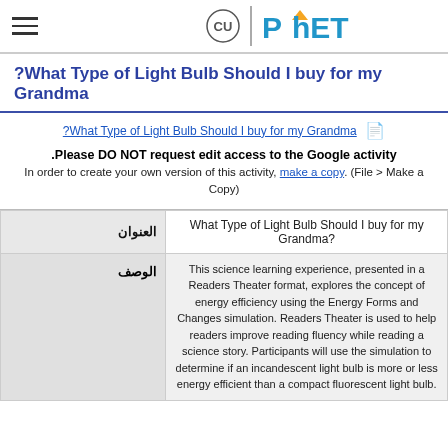PhET Interactive Simulations - University of Colorado
?What Type of Light Bulb Should I buy for my Grandma
?What Type of Light Bulb Should I buy for my Grandma
Please DO NOT request edit access to the Google activity. In order to create your own version of this activity, make a copy. (File > Make a Copy)
| العنوان | Value |
| --- | --- |
| العنوان | What Type of Light Bulb Should I buy for my Grandma? |
| الوصف | This science learning experience, presented in a Readers Theater format, explores the concept of energy efficiency using the Energy Forms and Changes simulation. Readers Theater is used to help readers improve reading fluency while reading a science story. Participants will use the simulation to determine if an incandescent light bulb is more or less energy efficient than a compact fluorescent light bulb. |